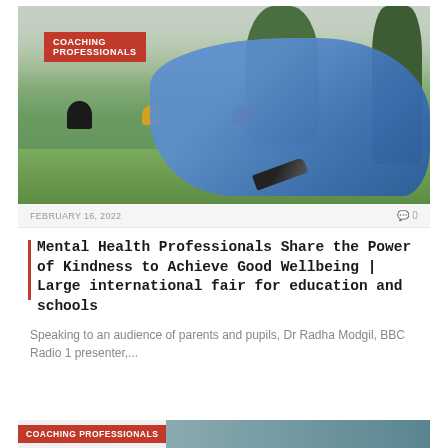[Figure (photo): Young woman in blue hoodie lying on grass reading a book outdoors, with other students visible in background near trees]
COACHING PROFESSIONALS
FEBRUARY 16, 2022
0
Mental Health Professionals Share the Power of Kindness to Achieve Good Wellbeing | Large international fair for education and schools
Speaking to an audience of parents and pupils, Dr Radha Modgil, BBC Radio 1 presenter,...
COACHING PROFESSIONALS